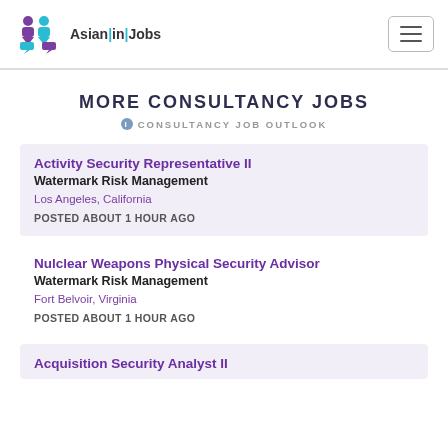Asian|in|Jobs navigation bar with logo and hamburger menu
MORE CONSULTANCY JOBS
CONSULTANCY JOB OUTLOOK
Activity Security Representative II
Watermark Risk Management
Los Angeles, California
POSTED ABOUT 1 HOUR AGO
Nulclear Weapons Physical Security Advisor
Watermark Risk Management
Fort Belvoir, Virginia
POSTED ABOUT 1 HOUR AGO
Acquisition Security Analyst II